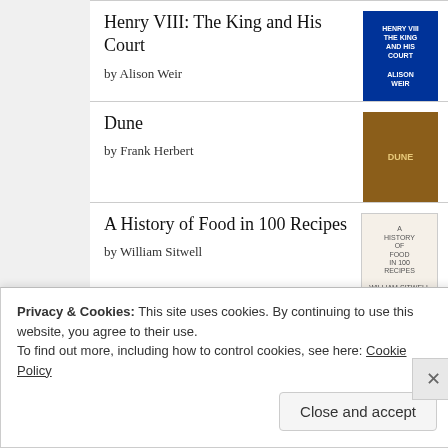Henry VIII: The King and His Court by Alison Weir
Dune by Frank Herbert
A History of Food in 100 Recipes by William Sitwell
[Figure (logo): Goodreads logo button with rounded rectangle border]
Privacy & Cookies: This site uses cookies. By continuing to use this website, you agree to their use. To find out more, including how to control cookies, see here: Cookie Policy
Close and accept